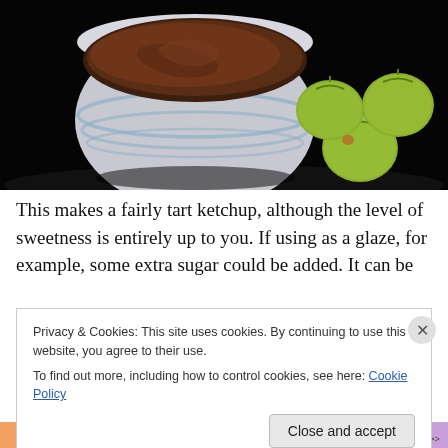[Figure (photo): A white striped bowl filled with dark brown ketchup/sauce, with three yellow-green tomatoes on a dark black background.]
This makes a fairly tart ketchup, although the level of sweetness is entirely up to you. If using as a glaze, for example, some extra sugar could be added. It can be
Privacy & Cookies: This site uses cookies. By continuing to use this website, you agree to their use.
To find out more, including how to control cookies, see here: Cookie Policy
Close and accept